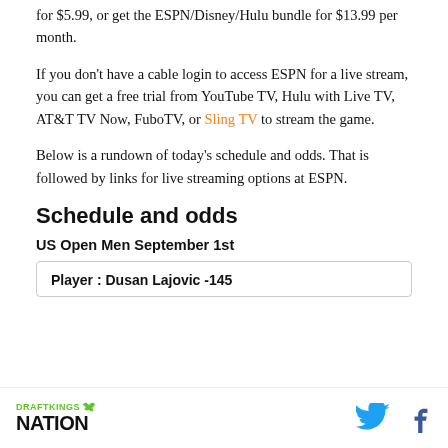for $5.99, or get the ESPN/Disney/Hulu bundle for $13.99 per month.
If you don't have a cable login to access ESPN for a live stream, you can get a free trial from YouTube TV, Hulu with Live TV, AT&T TV Now, FuboTV, or Sling TV to stream the game.
Below is a rundown of today's schedule and odds. That is followed by links for live streaming options at ESPN.
Schedule and odds
US Open Men September 1st
| Player | Dusan Lajovic | -145 |
| --- | --- | --- |